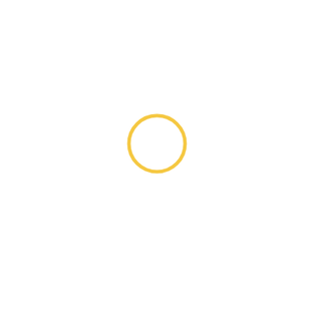[Figure (other): A golden/yellow circle outline (ring) centered slightly right of middle on a white background. The circle is unfilled with a golden yellow stroke, approximately 60px in diameter.]